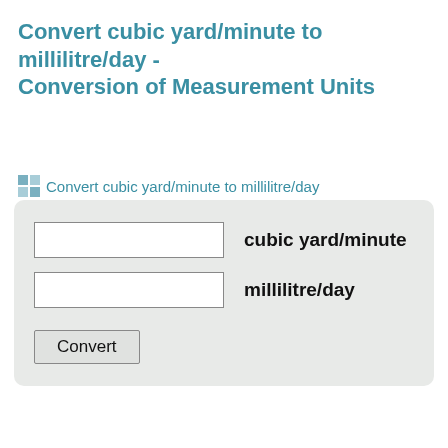Convert cubic yard/minute to millilitre/day - Conversion of Measurement Units
Convert cubic yard/minute to millilitre/day
[Figure (screenshot): A unit conversion form with two text input fields labeled 'cubic yard/minute' and 'millilitre/day', and a Convert button, all inside a light gray rounded rectangle.]